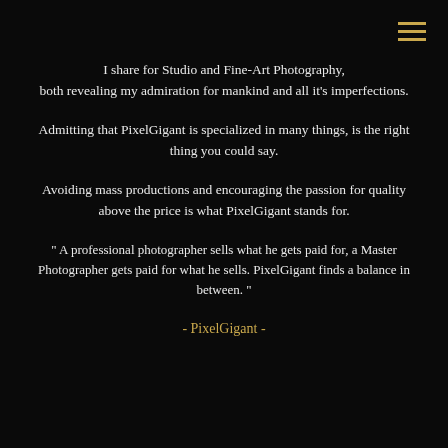[Figure (other): Hamburger menu icon (three horizontal gold lines) in top-right corner]
I share for Studio and Fine-Art Photography, both revealing my admiration for mankind and all it's imperfections.
Admitting that PixelGigant is specialized in many things, is the right thing you could say.
Avoiding mass productions and encouraging the passion for quality above the price is what PixelGigant stands for.
" A professional photographer sells what he gets paid for, a Master Photographer gets paid for what he sells. PixelGigant finds a balance in between. "
- PixelGigant -